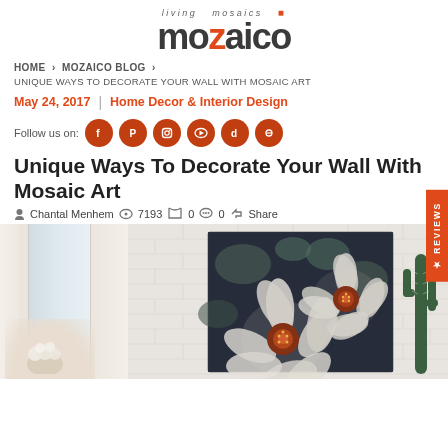living mosaics mozaico
HOME > MOZAICO BLOG >
UNIQUE WAYS TO DECORATE YOUR WALL WITH MOSAIC ART
May 24, 2017  |  Home Decor & Interior Design
Follow us on:
Unique Ways To Decorate Your Wall With Mosaic Art
Chantal Menhem   7193   0   0   Share
[Figure (photo): Hero image showing a mosaic flower artwork hung on a white brick wall, with a window with curtains and a flower bouquet on the left, and a cactus plant on the right.]